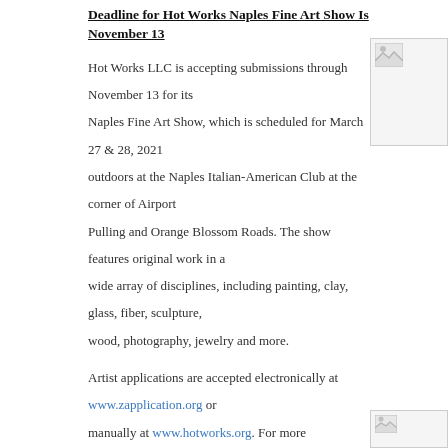Deadline for Hot Works Naples Fine Art Show Is November 13
Hot Works LLC is accepting submissions through November 13 for its Naples Fine Art Show, which is scheduled for March 27 & 28, 2021 outdoors at the Naples Italian-American Club at the corner of Airport Pulling and Orange Blossom Roads. The show features original work in a wide array of disciplines, including painting, clay, glass, fiber, sculpture, wood, photography, jewelry and more.
Artist applications are accepted electronically at www.zapplication.org or manually at www.hotworks.org. For more information, please contact Executive Director Patty Narozny at patty@hotworks.org or 248-684-2613.
[Figure (photo): Small image placeholder in upper right area]
Naples National Art Show application deadline is November 6
The Naples...
[Figure (photo): Small image placeholder in lower right area]